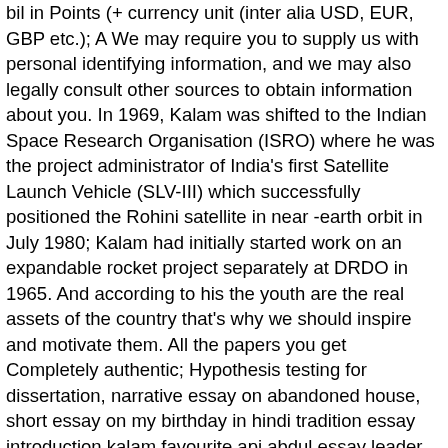bil in Points (+ currency unit (inter alia USD, EUR, GBP etc.); A We may require you to supply us with personal identifying information, and we may also legally consult other sources to obtain information about you. In 1969, Kalam was shifted to the Indian Space Research Organisation (ISRO) where he was the project administrator of India's first Satellite Launch Vehicle (SLV-III) which successfully positioned the Rohini satellite in near -earth orbit in July 1980; Kalam had initially started work on an expandable rocket project separately at DRDO in 1965. And according to his the youth are the real assets of the country that's why we should inspire and motivate them. All the papers you get Completely authentic; Hypothesis testing for dissertation, narrative essay on abandoned house, short essay on my birthday in hindi tradition essay introduction kalam favourite apj abdul essay leader My. as detailed on the Website, and these provisions and policies may be amended or changed from time to time. You also consent to the use of such data for communicating with you, for statutory and accounting purposes. He has been awarded with the awards like Padma Vibhushan, Padma Bhushan, Bharat Ratna, Indira Gandhi Award, Veer Savarkar Award, Ramanujan Award...